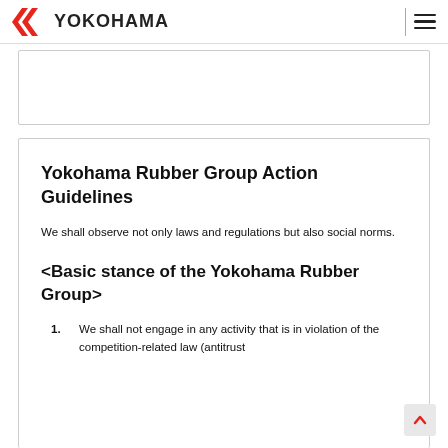YOKOHAMA
Yokohama Rubber Group Action Guidelines
We shall observe not only laws and regulations but also social norms.
<Basic stance of the Yokohama Rubber Group>
1. We shall not engage in any activity that is in violation of the competition-related law (antitrust